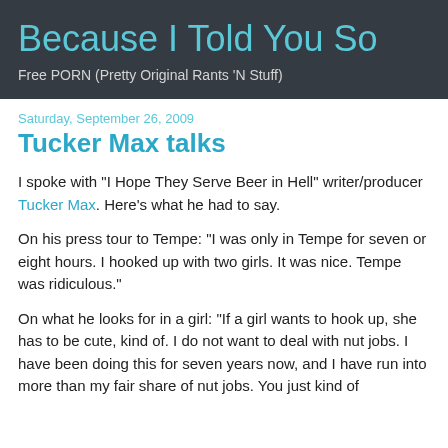Because I Told You So
Free PORN (Pretty Original Rants 'N Stuff)
Saturday, September 26, 2009
Tucker Max talks
I spoke with "I Hope They Serve Beer in Hell" writer/producer Tucker Max. Here's what he had to say.
On his press tour to Tempe: "I was only in Tempe for seven or eight hours. I hooked up with two girls. It was nice. Tempe was ridiculous."
On what he looks for in a girl: "If a girl wants to hook up, she has to be cute, kind of. I do not want to deal with nut jobs. I have been doing this for seven years now, and I have run into more than my fair share of nut jobs. You just kind of